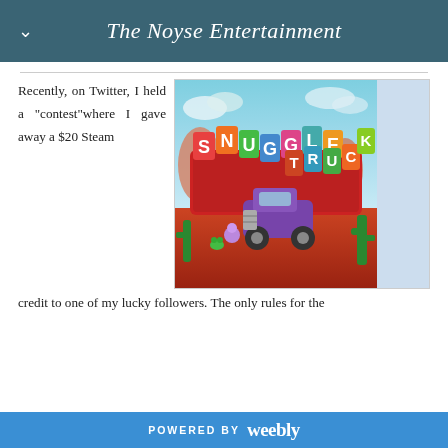The Noyse Entertainment
Recently, on Twitter, I held a "contest" where I gave away a $20 Steam credit to one of my lucky followers. The only rules for the
[Figure (illustration): Snuggle Truck video game title screen showing colorful block letters spelling 'SNUGGLE TRUCK' on a red billboard, with a purple vintage truck, cartoon animals (bear, frog), cacti, and desert landscape background.]
POWERED BY weebly